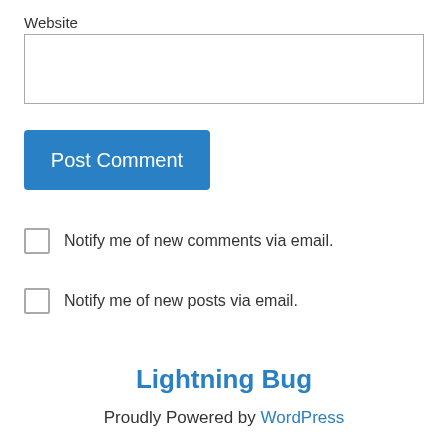Website
Post Comment
Notify me of new comments via email.
Notify me of new posts via email.
Lightning Bug
Proudly Powered by WordPress